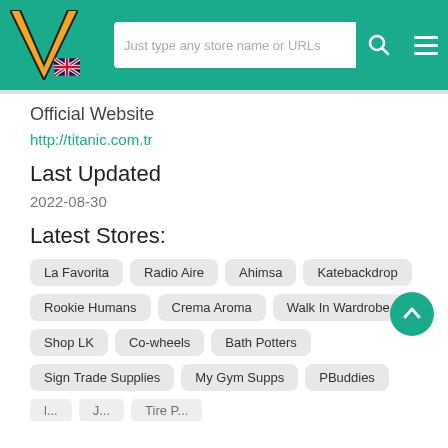[Figure (logo): VoucherCodes V logo in orange/yellow on teal header, with UK flag below]
Just type any store name or URLs
Official Website
http://titanic.com.tr
Last Updated
2022-08-30
Latest Stores:
La Favorita
Radio Aire
Ahimsa
Katebackdrop
Rookie Humans
Crema Aroma
Walk In Wardrobe
Shop LK
Co-wheels
Bath Potters
Sign Trade Supplies
My Gym Supps
PBuddies